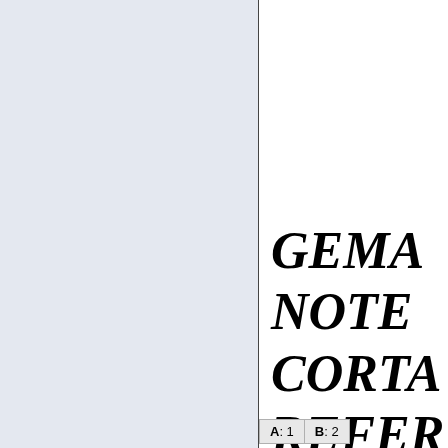GEMAT... NOTE... CORTA E... REFERE...
| A | B |
| --- | --- |
| 1 | 2 |